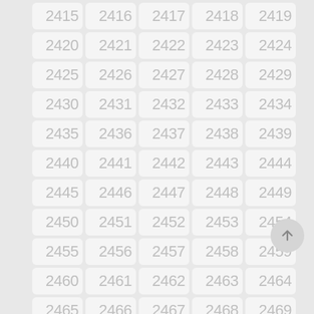[Figure (other): A grid of numbered cells arranged in 5 columns and 11 rows, showing numbers 2415 through 2469, with a scroll-to-top button in the lower right.]